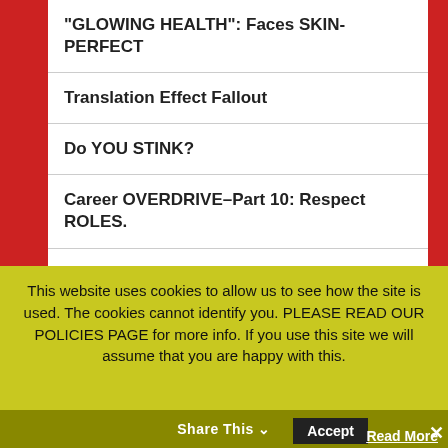“GLOWING HEALTH”: Faces SKIN-PERFECT
Translation Effect Fallout
Do YOU STINK?
Career OVERDRIVE–Part 10: Respect ROLES.
Career OVERDRIVE–Part 9: DON’T Wait For The System
Career OVERDRIVE–Part 8: Learn To Negotiate
This website uses cookies to allow us to see how the site is used. The cookies cannot identify you. PLEASE READ OUR POLICIES PAGE for more info. If you use this site we will assume that you are happy with this.
Accept
Read More
Share This